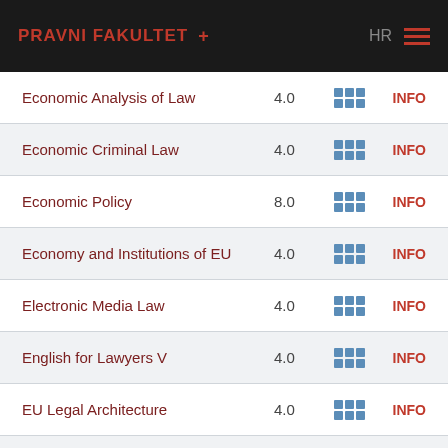PRAVNI FAKULTET + HR
Economic Analysis of Law | 4.0 | INFO
Economic Criminal Law | 4.0 | INFO
Economic Policy | 8.0 | INFO
Economy and Institutions of EU | 4.0 | INFO
Electronic Media Law | 4.0 | INFO
English for Lawyers V | 4.0 | INFO
EU Legal Architecture | 4.0 | INFO
EU Migration Law and Policy | 4.0 | INFO